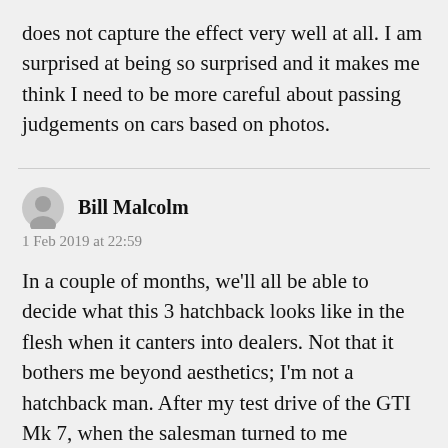does not capture the effect very well at all. I am surprised at being so surprised and it makes me think I need to be more careful about passing judgements on cars based on photos.
Bill Malcolm
1 Feb 2019 at 22:59
In a couple of months, we'll all be able to decide what this 3 hatchback looks like in the flesh when it canters into dealers. Not that it bothers me beyond aesthetics; I'm not a hatchback man. After my test drive of the GTI Mk 7, when the salesman turned to me expecting me to be